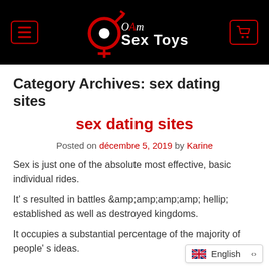OAm Sex Toys — site header with logo, menu, and cart
Category Archives: sex dating sites
sex dating sites
Posted on décembre 5, 2019 by Karine
Sex is just one of the absolute most effective, basic individual rides.
It' s resulted in battles &amp;amp;amp;amp;amp; hellip; established as well as destroyed kingdoms.
It occupies a substantial percentage of the majority of people's ideas.